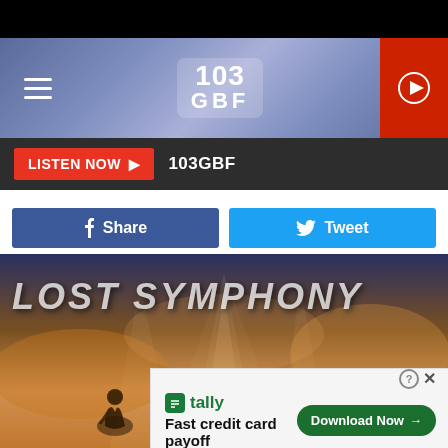[Figure (screenshot): 103 GBF radio station website header with hamburger menu, 103 GBF logo in center, and red play button on the right, on a blue-purple gradient background]
LISTEN NOW ▶  103GBF
f Share    Tweet
[Figure (illustration): Lost Symphony album art showing skeletal alien-like figures against a golden cloudy sky with light rays, text 'LOST SYMPHONY' at top]
🟩 tally  Fast credit card payoff  Download Now →